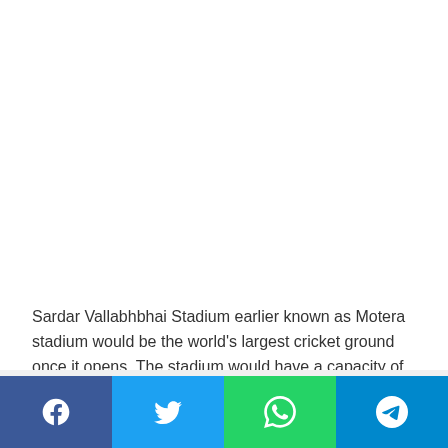[Figure (photo): White/blank area occupying top portion of the page (image placeholder)]
Sardar Vallabhbhai Stadium earlier known as Motera stadium would be the world's largest cricket ground once it opens. The stadium would have a capacity of seating 1.10 lakh people. The Motera stadium was demolished way back in 2015 and went under re-construction.
[Figure (infographic): Social share bar with Facebook, Twitter, WhatsApp, and Telegram buttons]